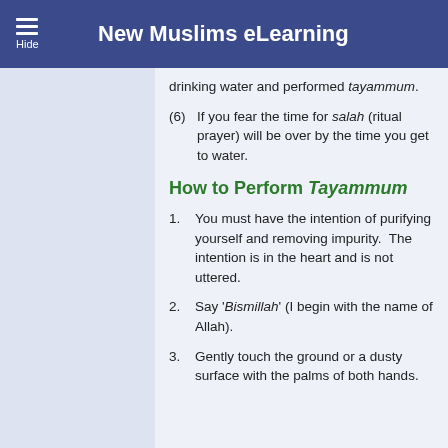New Muslims eLearning
drinking water and performed tayammum.
(6) If you fear the time for salah (ritual prayer) will be over by the time you get to water.
How to Perform Tayammum
1. You must have the intention of purifying yourself and removing impurity. The intention is in the heart and is not uttered.
2. Say 'Bismillah' (I begin with the name of Allah).
3. Gently touch the ground or a dusty surface with the palms of both hands.